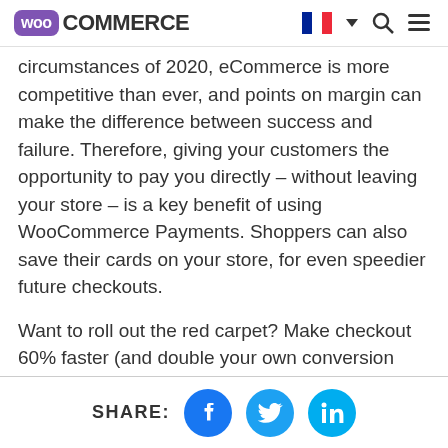WooCommerce [logo with nav icons]
circumstances of 2020, eCommerce is more competitive than ever, and points on margin can make the difference between success and failure. Therefore, giving your customers the opportunity to pay you directly – without leaving your store – is a key benefit of using WooCommerce Payments. Shoppers can also save their cards on your store, for even speedier future checkouts.

Want to roll out the red carpet? Make checkout 60% faster (and double your own conversion
SHARE: [Facebook] [Twitter] [LinkedIn]